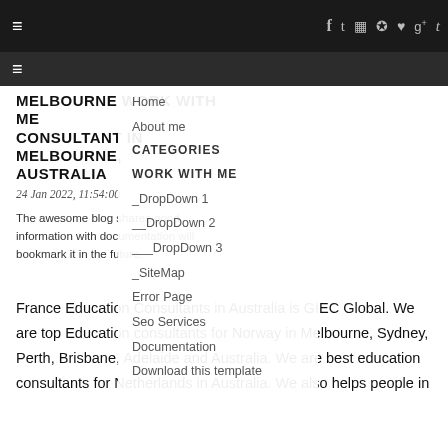≡  f  t  ☷  ℗  ♥  g+  t
[Figure (screenshot): Navigation bar with hamburger menu icon on dark background]
MELBOURNE WORK WITH ME CONSULTANT IN MELBOURNE, AUSTRALIA
24 Jan 2022, 11:54:00
The awesome blog shares good information with documentation will bookmark it in the future.
Home
About me
CATEGORIES
WORK WITH ME
_DropDown 1
__DropDown 2
___DropDown 3
_SiteMap
Error Page
Seo Services
Documentation
Download this template
France Education Consultants in Australia is GIEC Global. We are top Education consultants for Norway in Melbourne, Sydney, Perth, Brisbane, Adelaide and Australia. We are best education consultants for Netherlands in Australia. We also helps people in